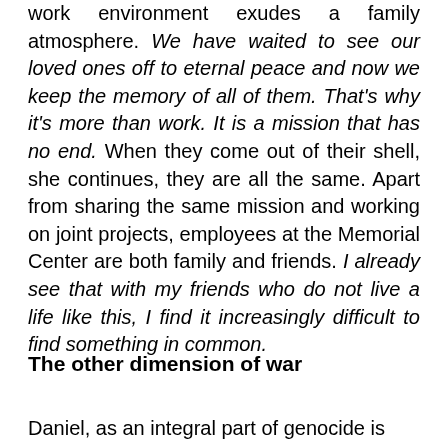work environment exudes a family atmosphere. We have waited to see our loved ones off to eternal peace and now we keep the memory of all of them. That's why it's more than work. It is a mission that has no end. When they come out of their shell, she continues, they are all the same. Apart from sharing the same mission and working on joint projects, employees at the Memorial Center are both family and friends. I already see that with my friends who do not live a life like this, I find it increasingly difficult to find something in common.
The other dimension of war
Daniel, as an integral part of genocide is...